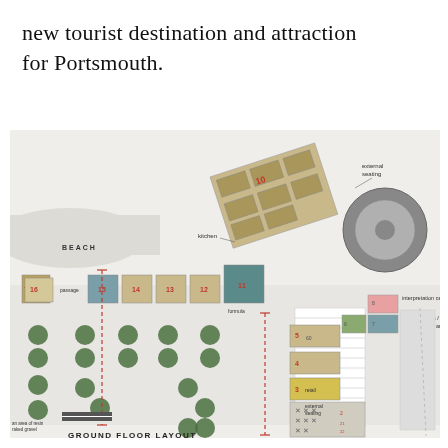new tourist destination and attraction for Portsmouth.
[Figure (engineering-diagram): Ground floor layout plan of a mixed-use tourist development near Portsmouth beach, showing numbered units (2-16), parking areas, beach frontage, kitchen, external seating, interpretation centre, meeting room/multi function area, retail, and landscape features including trees and raked gravel. Red dashed dimension lines indicate key measurements. A circular roundabout feature is visible on the right side.]
GROUND FLOOR LAYOUT